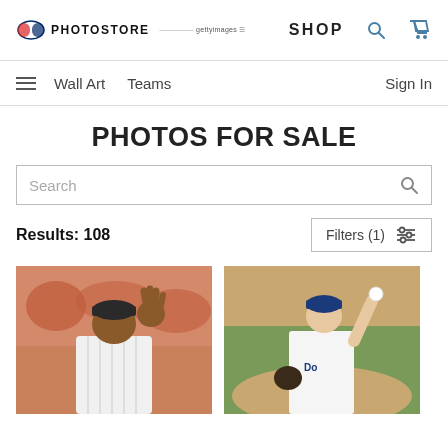MLB PHOTOSTORE | SHOP
Wall Art   Teams   Sign In
PHOTOS FOR SALE
Search
Results: 108
Filters (1)
[Figure (photo): Baseball player in white pinstripe uniform waving hand, crowd in background]
[Figure (photo): Baseball pitcher in white Dodgers uniform mid-throw, green grass background]